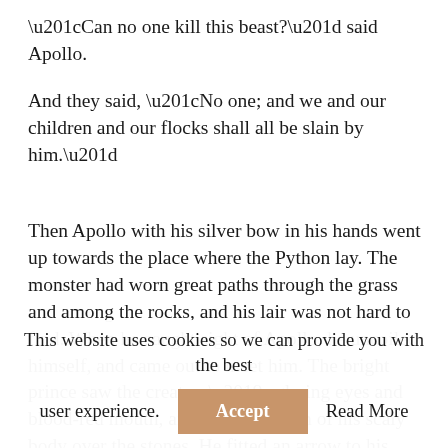“Can no one kill this beast?” said Apollo.
And they said, “No one; and we and our children and our flocks shall all be slain by him.”
Then Apollo with his silver bow in his hands went up towards the place where the Python lay. The monster had worn great paths through the grass and among the rocks, and his lair was not hard to find. When he caught sight of Apollo, he uncoiled himself, and came out to meet him. The bright prince saw the creature’s glaring eyes and blood-red mouth, and heard the rush of his scaly body over the stones. He fitted an arrow to his bow, and stood still. The Python saw that his foe
This website uses cookies so we can provide you with the best user experience.
Accept
Read More